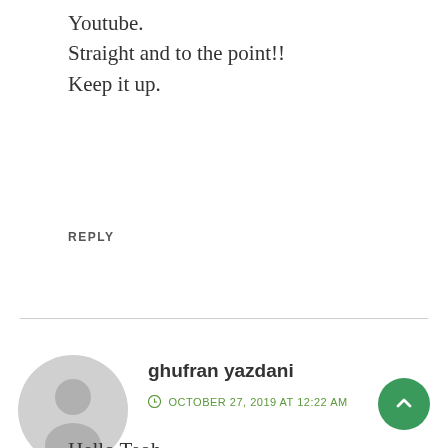Youtube.
Straight and to the point!!
Keep it up.
REPLY
ghufran yazdani
OCTOBER 27, 2019 AT 12:22 AM
Hello Teoh,
i have bought dell up3017 and delivered.
Now the client is asking me to submit
"SCHEMATIC & COMPONENT